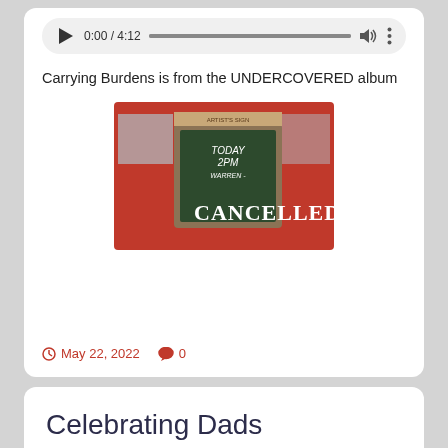[Figure (screenshot): Audio player showing 0:00 / 4:12 with progress bar, volume and more icons on grey pill background]
Carrying Burdens is from the UNDERCOVERED album
[Figure (photo): Photo of a red building with a chalkboard sign showing TODAY 2PM and a CANCELLED stamp overlaid in white text]
May 22, 2022  0
Celebrating Dads